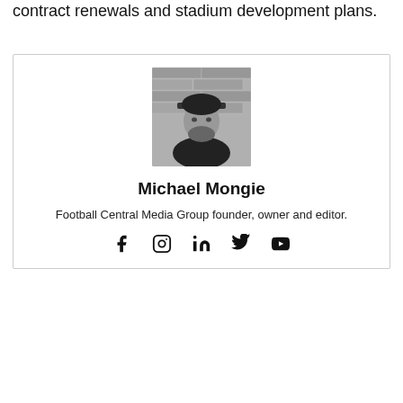contract renewals and stadium development plans.
[Figure (photo): Black and white photo of a bearded man wearing a baseball cap, standing in front of a brick wall]
Michael Mongie
Football Central Media Group founder, owner and editor.
[Figure (infographic): Social media icons: Facebook, Instagram, LinkedIn, Twitter, YouTube]